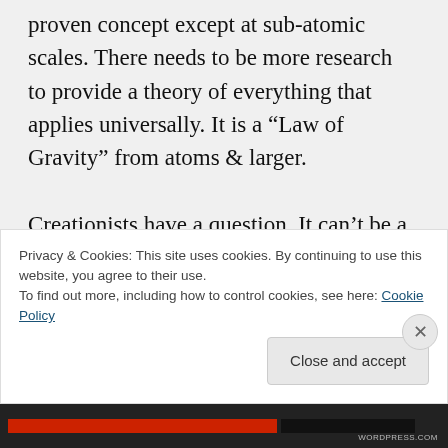proven concept except at sub-atomic scales. There needs to be more research to provide a theory of everything that applies universally. It is a “Law of Gravity” from atoms & larger.

Creationists have a question. It can't be a hypothesis because it can't even be tested. Evolution has been tested, re-
Privacy & Cookies: This site uses cookies. By continuing to use this website, you agree to their use.
To find out more, including how to control cookies, see here: Cookie Policy